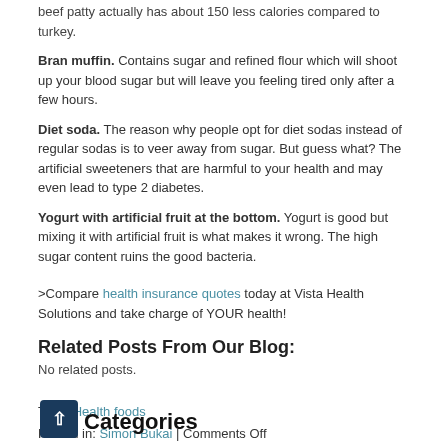beef patty actually has about 150 less calories compared to turkey.
Bran muffin. Contains sugar and refined flour which will shoot up your blood sugar but will leave you feeling tired only after a few hours.
Diet soda. The reason why people opt for diet sodas instead of regular sodas is to veer away from sugar. But guess what? The artificial sweeteners that are harmful to your health and may even lead to type 2 diabetes.
Yogurt with artificial fruit at the bottom. Yogurt is good but mixing it with artificial fruit is what makes it wrong. The high sugar content ruins the good bacteria.
>Compare health insurance quotes today at Vista Health Solutions and take charge of YOUR health!
Related Posts From Our Blog:
No related posts.
Tags: Health foods
Posted in: Simon Bukai | Comments Off
Categories